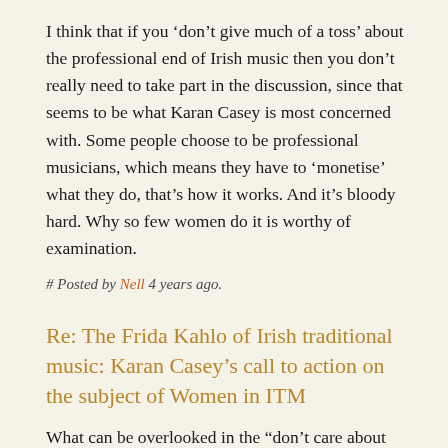I think that if you ‘don’t give much of a toss’ about the professional end of Irish music then you don’t really need to take part in the discussion, since that seems to be what Karan Casey is most concerned with. Some people choose to be professional musicians, which means they have to ‘monetise’ what they do, that’s how it works. And it’s bloody hard. Why so few women do it is worthy of examination.
# Posted by Nell 4 years ago.
Re: The Frida Kahlo of Irish traditional music: Karan Casey’s call to action on the subject of Women in ITM
What can be overlooked in the “don’t care about the professional side” approach is that the professional side acts as a window to the music in general. So, if passers-by see only blokes, or white people, or black people, or old people, or